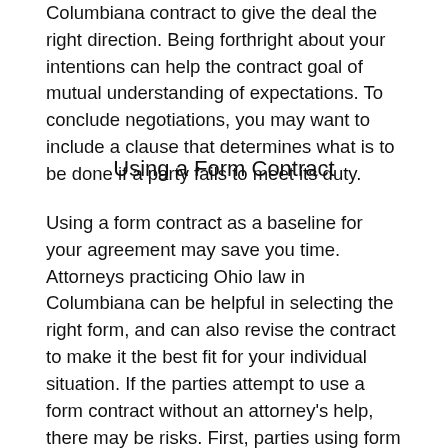Columbiana contract to give the deal the right direction. Being forthright about your intentions can help the contract goal of mutual understanding of expectations. To conclude negotiations, you may want to include a clause that determines what is to be done if a party fails to meet its duty.
Using a Form Contract
Using a form contract as a baseline for your agreement may save you time. Attorneys practicing Ohio law in Columbiana can be helpful in selecting the right form, and can also revise the contract to make it the best fit for your individual situation. If the parties attempt to use a form contract without an attorney's help, there may be risks. First, parties using form contracts often do not read all the terms, and can therefore be unaware of their obligations under the contract. Second, the difficult language used in the field of contracts can make agreements written by others difficult to understand. An attorney can ensure that a written contract matches the intent of the parties, both with form contracts and in negotiations. In Columbiana